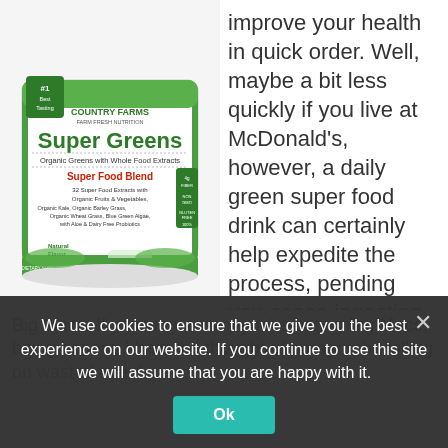[Figure (photo): Country Farms Super Greens product container — a white tub with green label showing '#1 Best Tasting', 'Country Farms Farm Fresh Nutrition', 'Super Greens', 'Organic Greens with Whole Food Extracts', 'Super Food Blend', '32 Super Food Extracts with Organic Fruits & Vegetables, Organic Kale, Organic Barley Grass, Organic Wheat Grass, Blue Green Algae, with Aloe & Dairy Free Probiotics', 'Natural Flavor', dietary supplement info, a glass of green drink and green plants at the bottom.]
improve your health in quick order. Well, maybe a bit less quickly if you live at McDonald's, however, a daily green super food drink can certainly help expedite the process, pending you cease ingesting
Big Macs. If you want to say you're eating Big Macs, being honest, I hate the thought of paragraphs falling on wasted eyes!
We use cookies to ensure that we give you the best experience on our website. If you continue to use this site we will assume that you are happy with it.